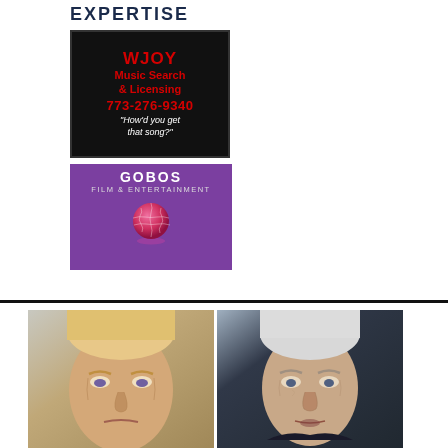EXPERTISE
[Figure (illustration): WJOY Music Search & Licensing advertisement. Black background with red text. Phone number 773-276-9340. Quote: "How'd you get that song?"]
[Figure (logo): GOBOS Film & Entertainment logo on purple background with pink globe graphic and reflection.]
[Figure (photo): Portrait photo of Donald Trump, close-up face, looking downward with serious expression.]
[Figure (photo): Portrait photo of Joe Biden, close-up face, with dark background.]